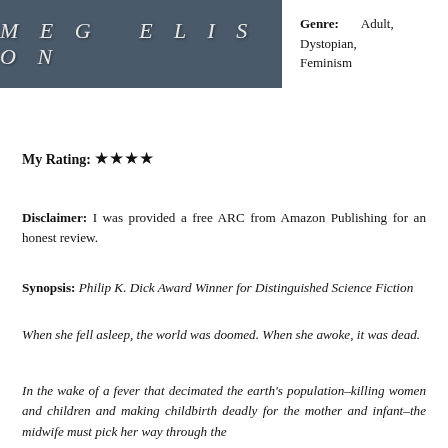[Figure (photo): Book cover image with dark blue-grey background and author name MEG ELISON in large spaced italic letters]
Genre: Adult, Dystopian, Feminism
My Rating: ★★★★
Disclaimer: I was provided a free ARC from Amazon Publishing for an honest review.
Synopsis: Philip K. Dick Award Winner for Distinguished Science Fiction
When she fell asleep, the world was doomed. When she awoke, it was dead.
In the wake of a fever that decimated the earth's population–killing women and children and making childbirth deadly for the mother and infant–the midwife must pick her way through the